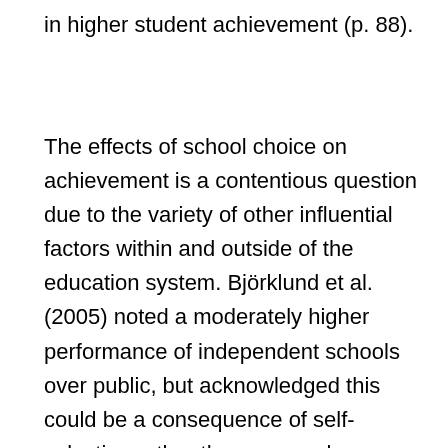in higher student achievement (p. 88).
The effects of school choice on achievement is a contentious question due to the variety of other influential factors within and outside of the education system. Björklund et al. (2005) noted a moderately higher performance of independent schools over public, but acknowledged this could be a consequence of self-selection rather than a causal relationship. Sandström & Bergström (2005) suggest that greater competition in the Swedish education market led to overall better student results and therefore quality of education,